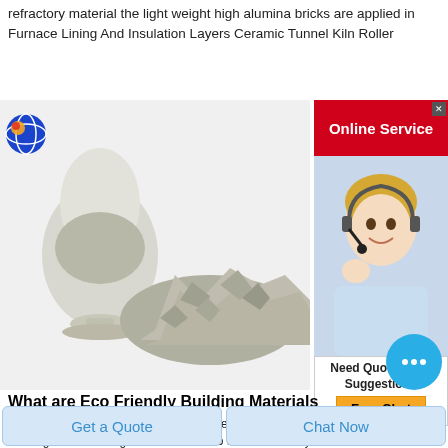refractory material the light weight high alumina bricks are applied in Furnace Lining And Insulation Layers Ceramic Tunnel Kiln Roller
[Figure (photo): Photo of refractory material: an egg-shaped glass vessel filled with grey powder, next to a pile of grey crushed stone/aggregate material on a white background. A globe/logo icon is in the upper left.]
[Figure (photo): Sidebar: Online Service banner in red with white text, close button (x), image of a smiling blonde woman with headset (customer service agent), Need Quotation & Suggestion? text block, Free Chat button in yellow/orange.]
What are Eco Friendly Building Materials used in
🕐 Reading time 1 minuteToday many people that are building or remodeling houses choose to use eco friendly building materials An eco friendly building material is one that increases the efficiency of energy used and reduces impact on
Get a Quote
Chat Now